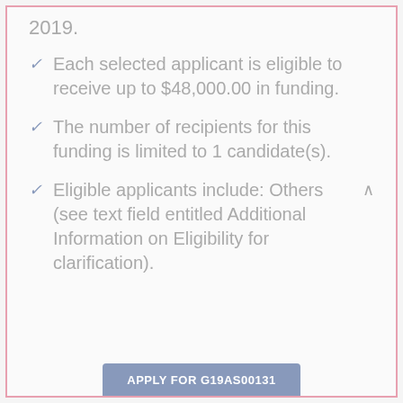2019.
Each selected applicant is eligible to receive up to $48,000.00 in funding.
The number of recipients for this funding is limited to 1 candidate(s).
Eligible applicants include: Others (see text field entitled Additional Information on Eligibility for clarification).
APPLY FOR G19AS00131